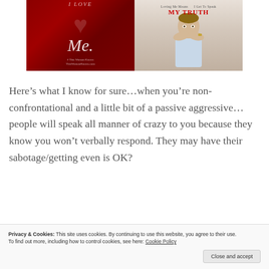[Figure (photo): Two book/blog cover images side by side. Left: dark red background with cursive 'Me.' text and heart motif. Right: man covering his mouth with hands, text 'Loving Me Means I Get To Speak MY TRUTH' in red.]
Here’s what I know for sure…when you’re non-confrontational and a little bit of a passive aggressive…people will speak all manner of crazy to you because they know you won’t verbally respond. They may have their sabotage/getting even is OK?
Privacy & Cookies: This site uses cookies. By continuing to use this website, you agree to their use.
To find out more, including how to control cookies, see here: Cookie Policy
Close and accept